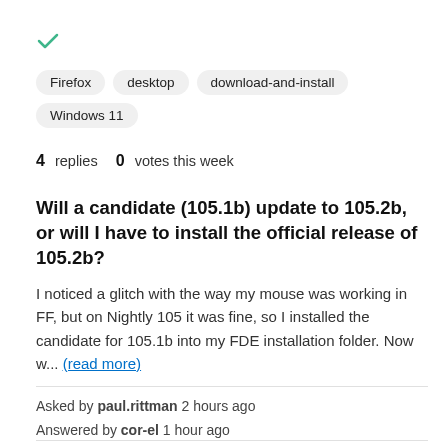[Figure (other): Green checkmark icon]
Firefox
desktop
download-and-install
Windows 11
4 replies   0 votes this week
Will a candidate (105.1b) update to 105.2b, or will I have to install the official release of 105.2b?
I noticed a glitch with the way my mouse was working in FF, but on Nightly 105 it was fine, so I installed the candidate for 105.1b into my FDE installation folder. Now w... (read more)
Asked by paul.rittman 2 hours ago
Answered by cor-el 1 hour ago